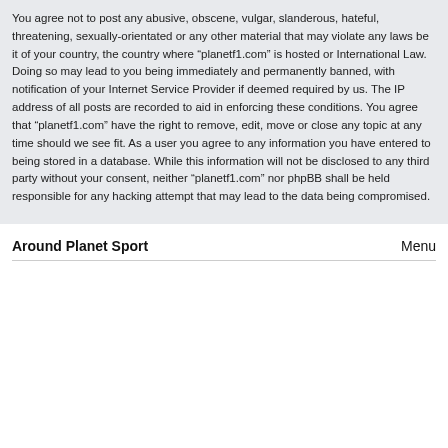You agree not to post any abusive, obscene, vulgar, slanderous, hateful, threatening, sexually-orientated or any other material that may violate any laws be it of your country, the country where “planetf1.com” is hosted or International Law. Doing so may lead to you being immediately and permanently banned, with notification of your Internet Service Provider if deemed required by us. The IP address of all posts are recorded to aid in enforcing these conditions. You agree that “planetf1.com” have the right to remove, edit, move or close any topic at any time should we see fit. As a user you agree to any information you have entered to being stored in a database. While this information will not be disclosed to any third party without your consent, neither “planetf1.com” nor phpBB shall be held responsible for any hacking attempt that may lead to the data being compromised.
Around Planet Sport
Menu